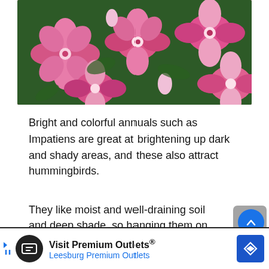[Figure (photo): Close-up photo of bright pink Impatiens flowers with green leaves in the background]
Bright and colorful annuals such as Impatiens are great at brightening up dark and shady areas, and these also attract hummingbirds.
They like moist and well-draining soil and deep shade, so hanging them on your porch will also work well.
[Figure (other): Partial advertisement banner showing blue background with number 4]
Visit Premium Outlets® Leesburg Premium Outlets